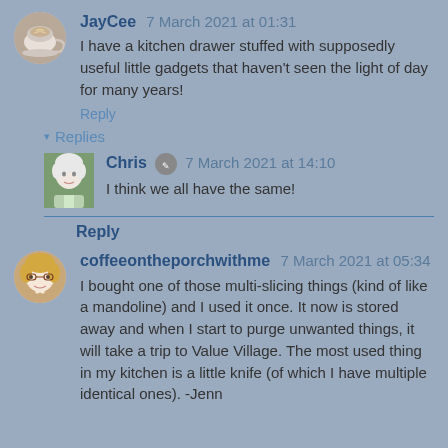JayCee 7 March 2021 at 01:31
I have a kitchen drawer stuffed with supposedly useful little gadgets that haven't seen the light of day for many years!
Reply
▾ Replies
[Figure (photo): Avatar of Chris, woman with short white hair outdoors]
Chris 🖊 7 March 2021 at 14:10
I think we all have the same!
Reply
[Figure (photo): Avatar of coffeeontheporchwithme, woman with blonde hair and glasses]
coffeeontheporchwithme 7 March 2021 at 05:34
I bought one of those multi-slicing things (kind of like a mandoline) and I used it once. It now is stored away and when I start to purge unwanted things, it will take a trip to Value Village. The most used thing in my kitchen is a little knife (of which I have multiple identical ones). -Jenn